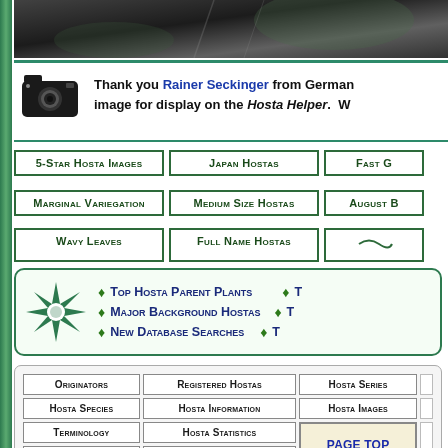[Figure (photo): Dark photo strip at top of page, appears to be a nature/plant photograph]
Thank you Rainer Seckinger from Germany for submitting this image for display on the Hosta Helper. W...
5-Star Hosta Images
Japan Hostas
Fast G...
Marginal Variegation
Medium Size Hostas
August B...
Wavy Leaves
Full Name Hostas
[Figure (illustration): Green 8-pointed star/compass rose logo for Hosta Helper website]
Top Hosta Parent Plants
Major Background Hostas
New Database Searches
T...
T...
T...
Originators
Registered Hostas
Hosta Series
Hosta Species
Hosta Information
Hosta Images
Terminology
Hosta Statistics
Page Top
Top Parents
The Hosta Journal